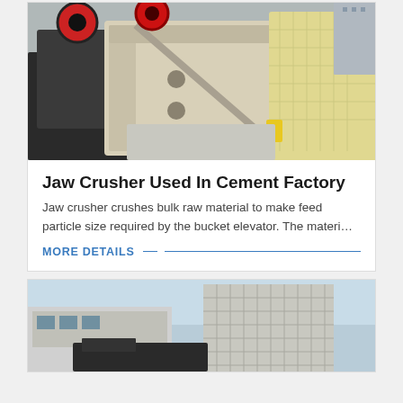[Figure (photo): Jaw crusher machine photographed in an industrial facility. Two large beige/cream colored crusher units with red flywheels visible, sitting on a concrete floor. Industrial setting.]
Jaw Crusher Used In Cement Factory
Jaw crusher crushes bulk raw material to make feed particle size required by the bucket elevator. The materi…
MORE DETAILS
[Figure (photo): Partial view of industrial building or machinery at bottom of page. Shows exterior of large industrial equipment or structure.]